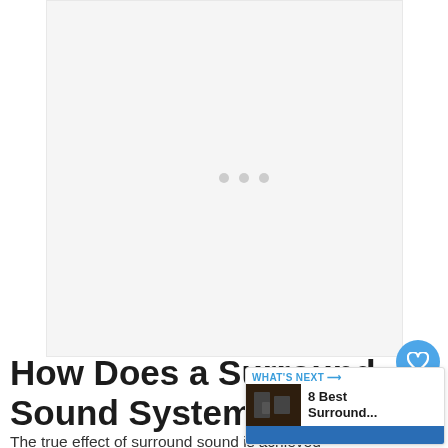[Figure (other): Advertisement placeholder area, light gray background]
How Does a Surround Sound System Work?
The true effect of surround sound is achieved by home theater speaker systems that consist of several